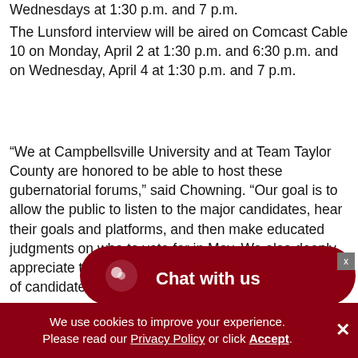Wednesdays at 1:30 p.m. and 7 p.m.
The Lunsford interview will be aired on Comcast Cable 10 on Monday, April 2 at 1:30 p.m. and 6:30 p.m. and on Wednesday, April 4 at 1:30 p.m. and 7 p.m.
“We at Campbellsville University and at Team Taylor County are honored to be able to host these gubernatorial forums,” said Chowning. “Our goal is to allow the public to listen to the major candidates, hear their goals and platforms, and then make educated judgments on who to vote for in May. We also deeply appreciate the local banks who are helping the series of candidate forums.”
[Figure (other): Chat with us button overlay (dark red pill-shaped widget with speech bubble icon)]
We use cookies to improve your experience. Please read our Privacy Policy or click Accept.